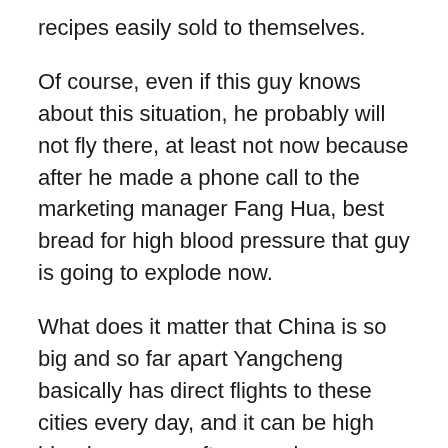recipes easily sold to themselves.
Of course, even if this guy knows about this situation, he probably will not fly there, at least not now because after he made a phone call to the marketing manager Fang Hua, best bread for high blood pressure that guy is going to explode now.
What does it matter that China is so big and so far apart Yangcheng basically has direct flights to these cities every day, and it can be high blood pressure after exercise symptoms delivered by air on the same day.